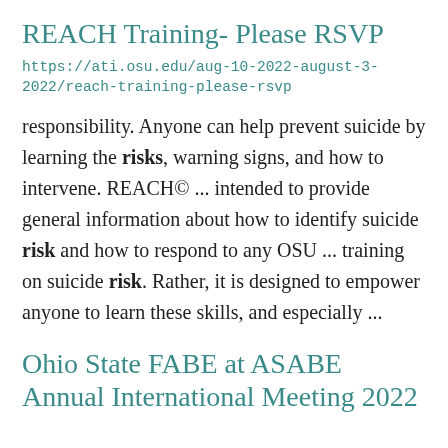REACH Training- Please RSVP
https://ati.osu.edu/aug-10-2022-august-3-2022/reach-training-please-rsvp
responsibility. Anyone can help prevent suicide by learning the risks, warning signs, and how to intervene. REACH© ... intended to provide general information about how to identify suicide risk and how to respond to any OSU ... training on suicide risk. Rather, it is designed to empower anyone to learn these skills, and especially ...
Ohio State FABE at ASABE Annual International Meeting 2022